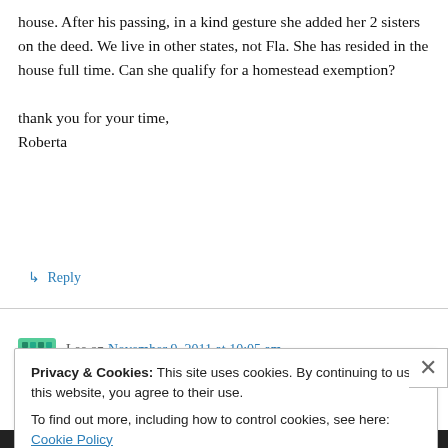house. After his passing, in a kind gesture she added her 2 sisters on the deed. We live in other states, not Fla. She has resided in the house full time. Can she qualify for a homestead exemption?

thank you for your time,
Roberta
↳ Reply
Lee on November 9, 2011 at 10:05 am
Privacy & Cookies: This site uses cookies. By continuing to use this website, you agree to their use.
To find out more, including how to control cookies, see here: Cookie Policy